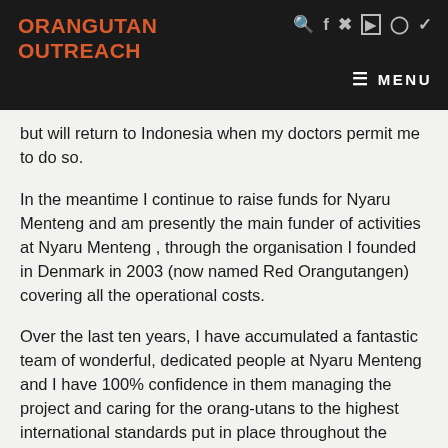ORANGUTAN OUTREACH
but will return to Indonesia when my doctors permit me to do so.
In the meantime I continue to raise funds for Nyaru Menteng and am presently the main funder of activities at Nyaru Menteng , through the organisation I founded in Denmark in 2003 (now named Red Orangutangen) covering all the operational costs.
Over the last ten years, I have accumulated a fantastic team of wonderful, dedicated people at Nyaru Menteng and I have 100% confidence in them managing the project and caring for the orang-utans to the highest international standards put in place throughout the years; while I continu...